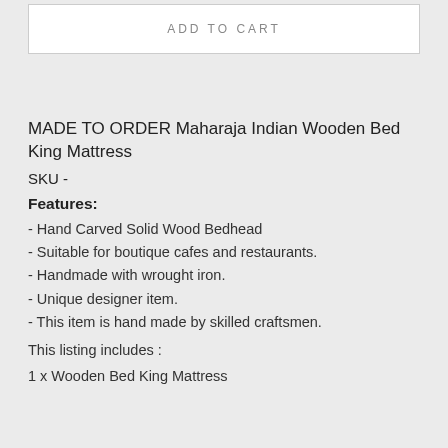ADD TO CART
MADE TO ORDER Maharaja Indian Wooden Bed King Mattress
SKU -
Features:
- Hand Carved Solid Wood Bedhead
- Suitable for boutique cafes and restaurants.
- Handmade with wrought iron.
- Unique designer item.
- This item is hand made by skilled craftsmen.
This listing includes :
1 x Wooden Bed King Mattress